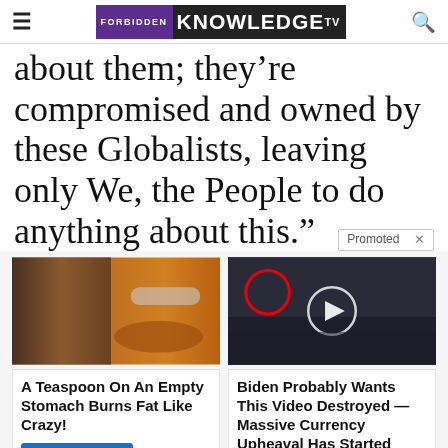FORBIDDEN KNOWLEDGE TV
about them; they’re compromised and owned by these Globalists, leaving only We, the People to do anything about this.”
[Figure (photo): Left ad: fitness model and spice on spoon; Right ad: group of men in suits at CIA-style setting with play button overlay]
A Teaspoon On An Empty Stomach Burns Fat Like Crazy!
Biden Probably Wants This Video Destroyed — Massive Currency Upheaval Has Started